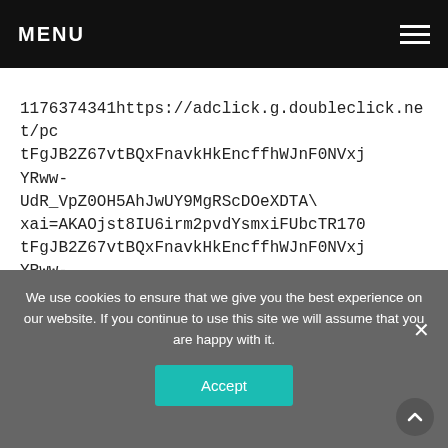MENU
1176374341https://adclick.g.doubleclick.net/pc tFgJB2Z67vtBQxFnavkHkEncffhWJnF0NVxj YRww-UdR_VpZ0OH5AhJwUY9MgRScDOeXDTAS xai=AKAOjst8IU6irm2pvdYsmxiFUbcTR170 tFgJB2Z67vtBQxFnavkHkEncffhWJnF0NVxj YRww-UdR_VpZ0OH5AhJwUY9MgRScDOeXDTAS [gw_fbsaeid]&urlfix=1&adurl=
We use cookies to ensure that we give you the best experience on our website. If you continue to use this site we will assume that you are happy with it.